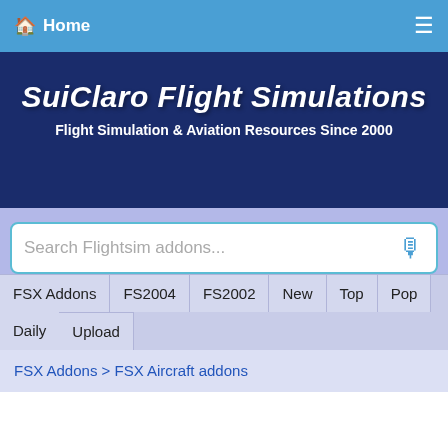Home
SuiClaro Flight Simulations
Flight Simulation & Aviation Resources Since 2000
Search Flightsim addons...
FSX Addons
FS2004
FS2002
New
Top
Pop
Daily
Upload
FSX Addons > FSX Aircraft addons